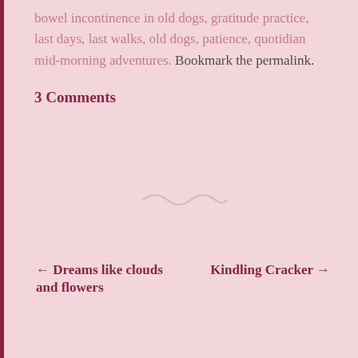bowel incontinence in old dogs, gratitude practice, last days, last walks, old dogs, patience, quotidian mid-morning adventures. Bookmark the permalink.
3 Comments
[Figure (illustration): Decorative tilde/wave divider in light grayish-pink color]
← Dreams like clouds   Kindling Cracker →
and flowers